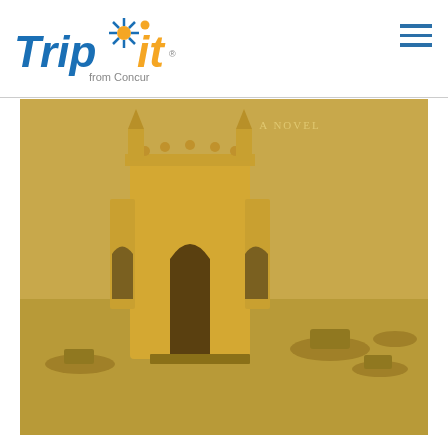TripIt from Concur
[Figure (photo): Book cover photo showing the Gateway of India monument in Mumbai with boats in the harbor, sepia/golden toned. Text 'A NOVEL' visible at top.]
A love for India at its heart, this epic novel by Gregory David Roberts details the tumultuous life of Lin—one filled with love, loss, torture, and triumph.
10. Pachinko by Min Jin Lee
[Figure (photo): Partial view of book cover for Pachinko — teal/blue background with partial figure visible.]